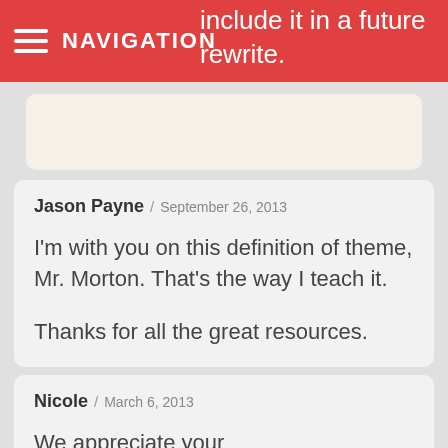NAVIGATION
include it in a future rewrite.
Jason Payne / September 26, 2013

I'm with you on this definition of theme, Mr. Morton. That's the way I teach it.

Thanks for all the great resources.
Nicole / March 6, 2013

We appreciate your